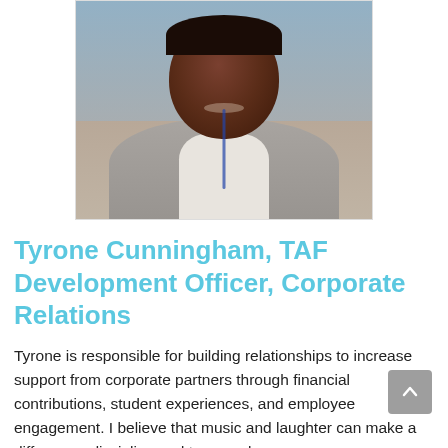[Figure (photo): Headshot photo of Tyrone Cunningham, a man smiling, wearing a light gray blazer and white shirt with a lanyard, photographed in what appears to be an indoor venue.]
Tyrone Cunningham, TAF Development Officer, Corporate Relations
Tyrone is responsible for building relationships to increase support from corporate partners through financial contributions, student experiences, and employee engagement. I believe that music and laughter can make a difference; discipline and teamwork goes a